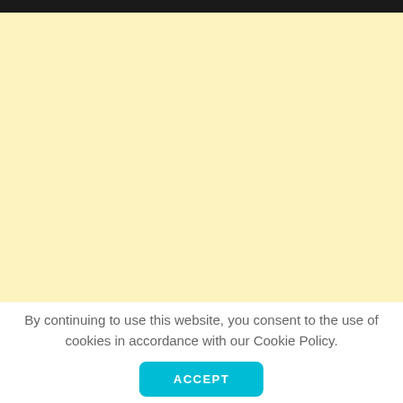[Figure (other): Dark top navigation bar]
[Figure (other): Large light yellow/cream colored background area]
By continuing to use this website, you consent to the use of cookies in accordance with our Cookie Policy.
ACCEPT